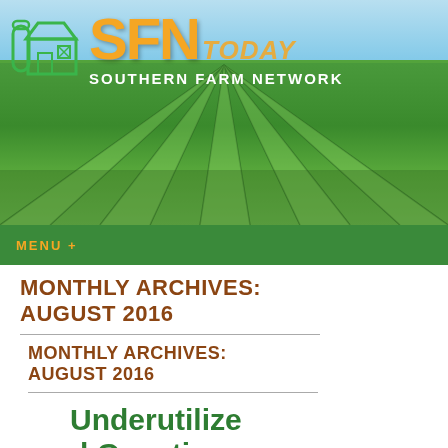[Figure (photo): Header banner showing SFN Today - Southern Farm Network logo over a farm field photo with rows of green crops stretching into the distance under a blue sky. Contains a barn/silo icon and orange and white text.]
MENU +
MONTHLY ARCHIVES: AUGUST 2016
MONTHLY ARCHIVES: AUGUST 2016
Underutilized Genetics Could Help